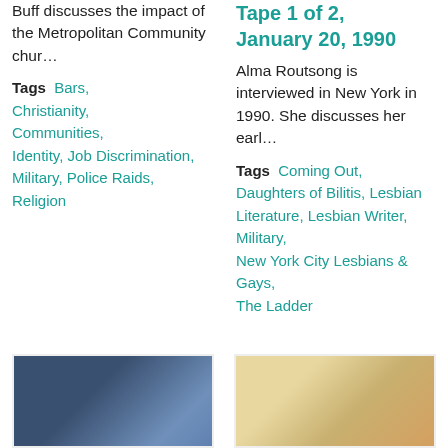Buff discusses the impact of the Metropolitan Community chur…
Tags  Bars, Christianity, Communities, Identity, Job Discrimination, Military, Police Raids, Religion
Tape 1 of 2, January 20, 1990
Alma Routsong is interviewed in New York in 1990. She discusses her earl…
Tags  Coming Out, Daughters of Bilitis, Lesbian Literature, Lesbian Writer, Military, New York City Lesbians & Gays, The Ladder
[Figure (photo): Dark blue-toned photo, likely an event or venue scene]
[Figure (photo): Light-toned photo of a person with warm background]